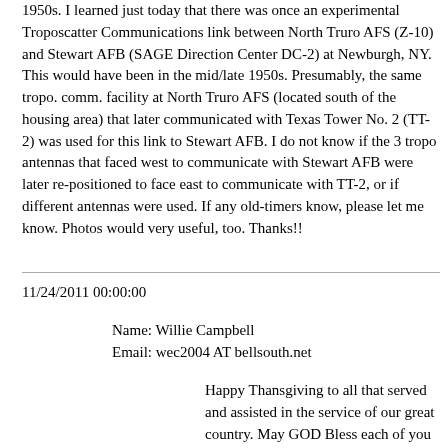1950s. I learned just today that there was once an experimental Troposcatter Communications link between North Truro AFS (Z-10) and Stewart AFB (SAGE Direction Center DC-2) at Newburgh, NY. This would have been in the mid/late 1950s. Presumably, the same tropo. comm. facility at North Truro AFS (located south of the housing area) that later communicated with Texas Tower No. 2 (TT-2) was used for this link to Stewart AFB. I do not know if the 3 tropo antennas that faced west to communicate with Stewart AFB were later re-positioned to face east to communicate with TT-2, or if different antennas were used. If any old-timers know, please let me know. Photos would very useful, too. Thanks!!
11/24/2011 00:00:00
Name: Willie Campbell
Email: wec2004 AT bellsouth.net
Happy Thansgiving to all that served and assisted in the service of our great country. May GOD Bless each of you .Willie Campbell, HQ 52nd Arty Bde --646 AC&W Sqd Highland Air Force Station New